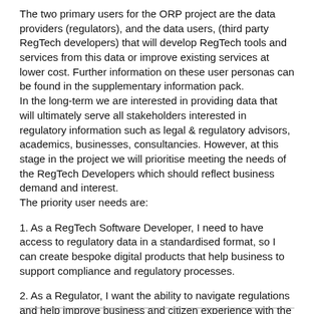The two primary users for the ORP project are the data providers (regulators), and the data users, (third party RegTech developers) that will develop RegTech tools and services from this data or improve existing services at lower cost. Further information on these user personas can be found in the supplementary information pack. In the long-term we are interested in providing data that will ultimately serve all stakeholders interested in regulatory information such as legal & regulatory advisors, academics, businesses, consultancies. However, at this stage in the project we will prioritise meeting the needs of the RegTech Developers which should reflect business demand and interest.
The priority user needs are:
1. As a RegTech Software Developer, I need to have access to regulatory data in a standardised format, so I can create bespoke digital products that help business to support compliance and regulatory processes.
2. As a Regulator, I want the ability to navigate regulations and help improve business and citizen experience with the regulatory landscape.